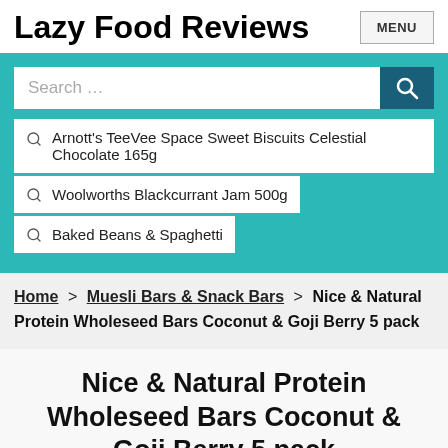Lazy Food Reviews
[Figure (screenshot): Search bar with teal background and three autocomplete suggestions: Arnott's TeeVee Space Sweet Biscuits Celestial Chocolate 165g, Woolworths Blackcurrant Jam 500g, Baked Beans & Spaghetti]
Home > Muesli Bars & Snack Bars > Nice & Natural Protein Wholeseed Bars Coconut & Goji Berry 5 pack
Nice & Natural Protein Wholeseed Bars Coconut & Goji Berry 5 pack